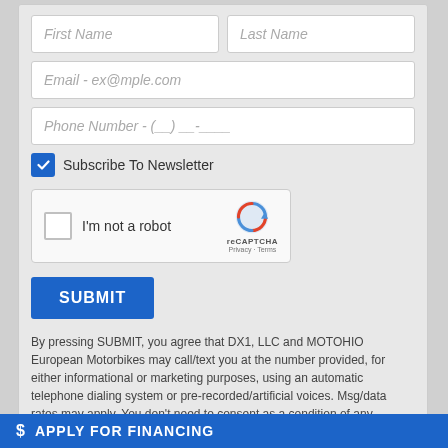[Figure (screenshot): Web contact form with First Name, Last Name, Email, Phone Number fields, Subscribe To Newsletter checkbox, reCAPTCHA widget, and SUBMIT button]
By pressing SUBMIT, you agree that DX1, LLC and MOTOHIO European Motorbikes may call/text you at the number provided, for either informational or marketing purposes, using an automatic telephone dialing system or pre-recorded/artificial voices. Msg/data rates may apply. You don't need to consent as a condition of any purchase & you may revoke your consent at any time. You also agree to our Privacy Statement & Terms of Use.
APPLY FOR FINANCING